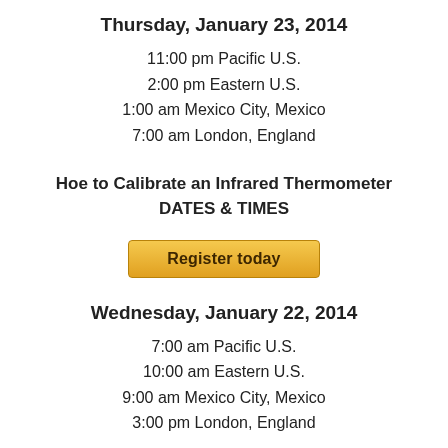Thursday, January 23, 2014
11:00 pm Pacific U.S.
2:00 pm Eastern U.S.
1:00 am Mexico City, Mexico
7:00 am London, England
Hoe to Calibrate an Infrared Thermometer
DATES & TIMES
Register today
Wednesday, January 22, 2014
7:00 am Pacific U.S.
10:00 am Eastern U.S.
9:00 am Mexico City, Mexico
3:00 pm London, England